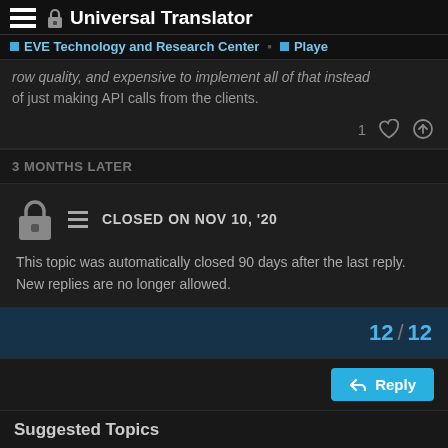Universal Translator
EVE Technology and Research Center  Playe
row quality, and expensive to implement all of that instead of just making API calls from the clients.
1
3 MONTHS LATER
CLOSED ON NOV 10, '20
This topic was automatically closed 90 days after the last reply. New replies are no longer allowed.
12 / 12
Reply
Suggested Topics
In game advertising
9